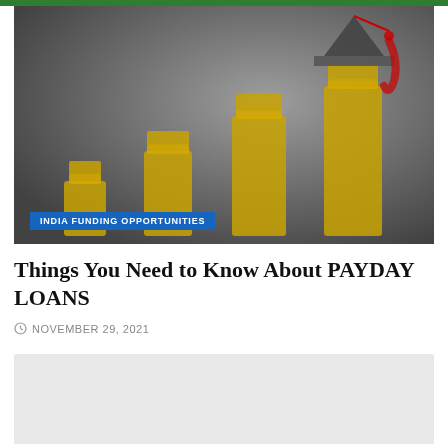[Figure (photo): Header image showing stacks of gold coins with a graduation cap on top, overlaid with text 'GRANTS & FUNDING Opportunities' and a University Lahore logo. A blue badge reads 'INDIA FUNDING OPPORTUNITIES'.]
Things You Need to Know About PAYDAY LOANS
NOVEMBER 29, 2021
[Figure (photo): A light gray secondary image placeholder at the bottom of the page.]